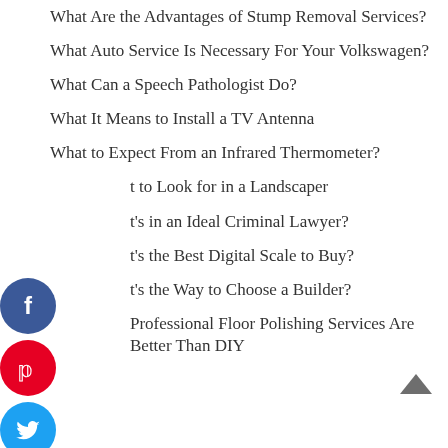What Are the Advantages of Stump Removal Services?
What Auto Service Is Necessary For Your Volkswagen?
What Can a Speech Pathologist Do?
What It Means to Install a TV Antenna
What to Expect From an Infrared Thermometer?
t to Look for in a Landscaper
t's in an Ideal Criminal Lawyer?
t's the Best Digital Scale to Buy?
t's the Way to Choose a Builder?
Professional Floor Polishing Services Are Better Than DIY
[Figure (photo): A large medieval castle (Hohenzollern Castle) perched on a forested hilltop, photographed from below with warm evening light. Social media share buttons (Facebook, Pinterest, Twitter, LinkedIn, Reddit, StumbleUpon) are visible on the left side overlapping the content.]